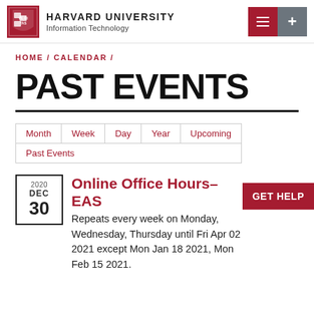HARVARD UNIVERSITY Information Technology
HOME / CALENDAR /
PAST EVENTS
Month | Week | Day | Year | Upcoming | Past Events
Online Office Hours– FAS
2020 DEC 30
Repeats every week on Monday, Wednesday, Thursday until Fri Apr 02 2021 except Mon Jan 18 2021, Mon Feb 15 2021.